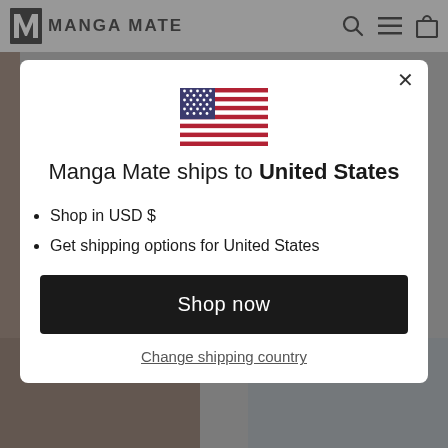MANGA MATE
[Figure (screenshot): A modal dialog popup on the Manga Mate website showing a US flag, shipping information for United States, bullet points, a Shop now button, and a Change shipping country link. Background shows the Manga Mate website with anime figures.]
Manga Mate ships to United States
Shop in USD $
Get shipping options for United States
Shop now
Change shipping country